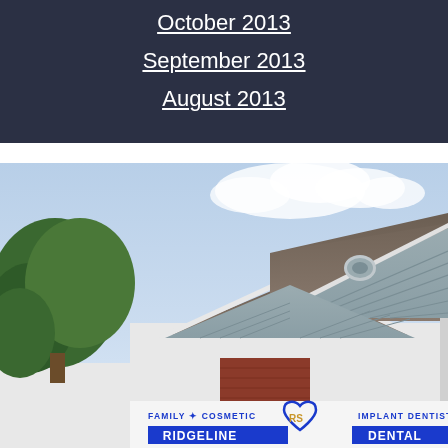October 2013
September 2013
August 2013
[Figure (photo): Exterior photo of a dental office building with gray siding, triangular roofline, red brick accents, green trees on the left, blue sky with clouds, and a sign reading FAMILY · COSMETIC IMPLANT DENTISTRY]